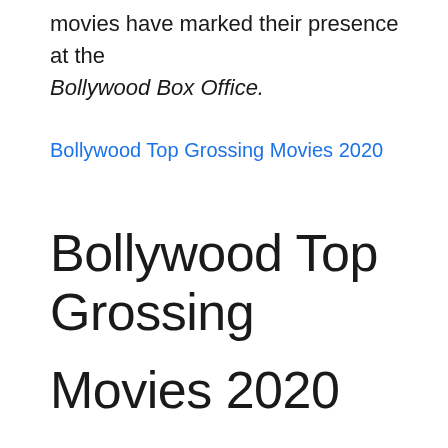movies have marked their presence at the Bollywood Box Office.
Bollywood Top Grossing Movies 2020
Bollywood Top Grossing Movies 2020
Also, there are many more Bollywood films in the queue that have done good business at the